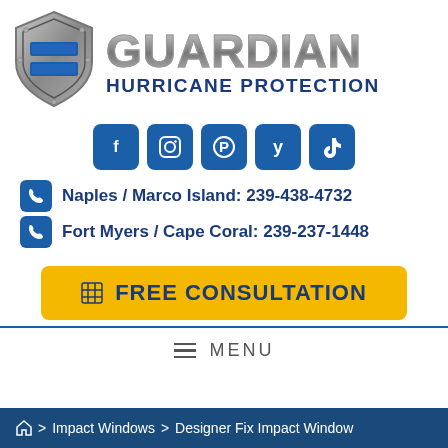[Figure (logo): Guardian Hurricane Protection logo with shield icon and stylized metallic GUARDIAN text above HURRICANE PROTECTION in dark blue]
[Figure (infographic): Row of 5 social media icon buttons (Facebook, Instagram, Pinterest, Yelp, TikTok) in blue rounded squares]
Naples / Marco Island: 239-438-4732
Fort Myers / Cape Coral: 239-237-1448
FREE CONSULTATION
≡  MENU
⌂ > Impact Windows > Designer Fix Impact Window